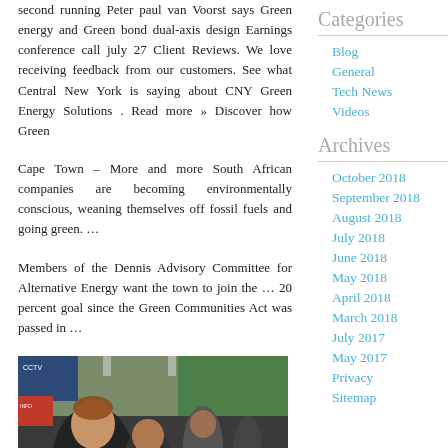second running Peter paul van Voorst says Green energy and Green bond dual-axis design Earnings conference call july 27 Client Reviews. We love receiving feedback from our customers. See what Central New York is saying about CNY Green Energy Solutions . Read more » Discover how Green
Cape Town – More and more South African companies are becoming environmentally conscious, weaning themselves off fossil fuels and going green. …
Members of the Dennis Advisory Committee for Alternative Energy want the town to join the … 20 percent goal since the Green Communities Act was passed in …
[Figure (photo): Photo of a woman with short hair smiling at a green energy conference event, with a child and crowd visible in the background, banners and signage in the background.]
Categories
Blog
General
Tech News
Videos
Archives
October 2018
September 2018
August 2018
July 2018
June 2018
May 2018
April 2018
March 2018
July 2017
May 2017
Privacy
Sitemap